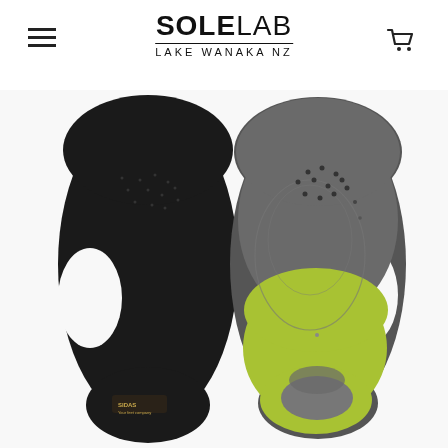SOLELAB LAKE WANAKA NZ
[Figure (photo): Two shoe insoles shown side by side: left insole is black fabric top surface, right insole shows the underside with gray foam and yellow-green molded arch support. SIDAS brand label visible on left insole near heel.]